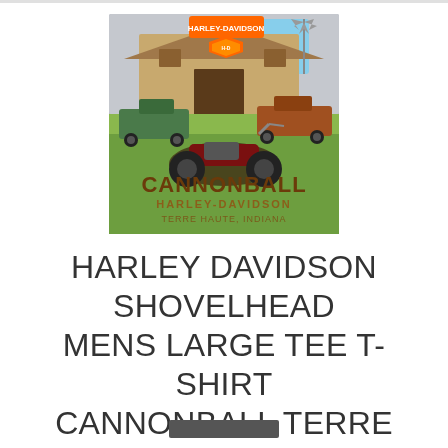[Figure (photo): Photo of a Harley-Davidson Cannonball t-shirt from Terre Haute, Indiana. The shirt is grey and features a barn scene with vintage trucks, a motorcycle, and the text 'Cannonball Harley-Davidson Terre Haute, Indiana' along with the Harley-Davidson logo/shield at top.]
HARLEY DAVIDSON SHOVELHEAD MENS LARGE TEE T-SHIRT CANNONBALL TERRE HAUTE INDIANA